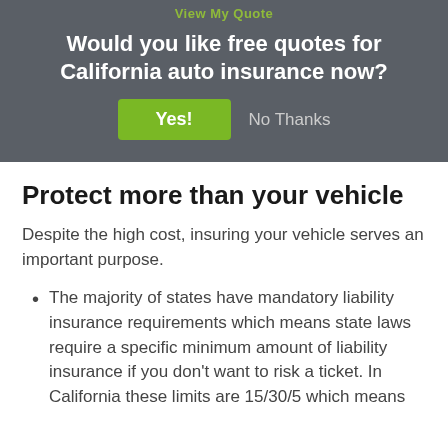View My Quote
Would you like free quotes for California auto insurance now?
Yes!  No Thanks
Protect more than your vehicle
Despite the high cost, insuring your vehicle serves an important purpose.
The majority of states have mandatory liability insurance requirements which means state laws require a specific minimum amount of liability insurance if you don't want to risk a ticket. In California these limits are 15/30/5 which means